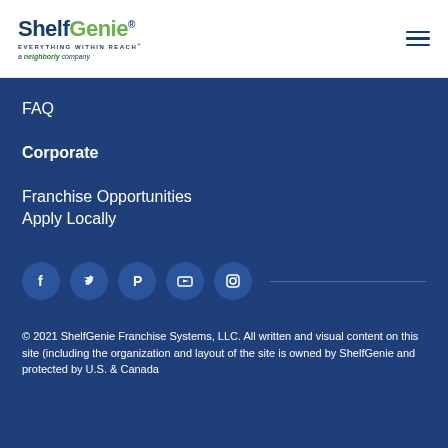ShelfGenie EVERYTHING WITHIN REACH a neighborly company
FAQ
Corporate
Franchise Opportunities
Apply Locally
[Figure (other): Social media icons row: Facebook, Twitter, Pinterest, YouTube, Instagram circles with a horizontal divider line]
© 2021 ShelfGenie Franchise Systems, LLC. All written and visual content on this site (including the organization and layout of the site is owned by ShelfGenie and protected by U.S. & Canada